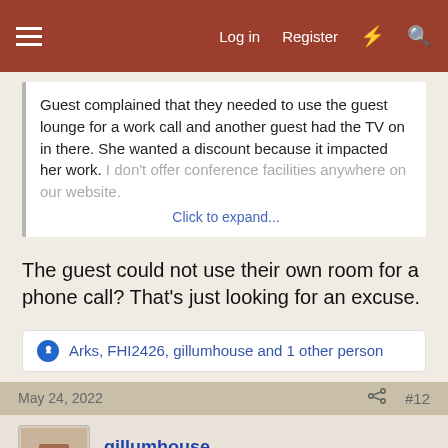Log in  Register
Guest complained that they needed to use the guest lounge for a work call and another guest had the TV on in there. She wanted a discount because it impacted her work. I don't offer conference facilities anywhere on our website.
Click to expand...
The guest could not use their own room for a phone call? That's just looking for an excuse.
Arks, FHI2426, gillumhouse and 1 other person
May 24, 2022  #12
gillumhouse
Moderator  Staff member  Moderator
Her room, her car, the porch..... lots of places to make/take a phone call. YOU are not responsible for a guest's work requirements. (Take her to the dining